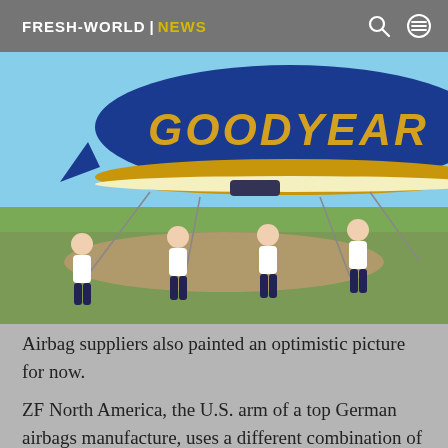FRESH-WORLD | NEWS
[Figure (photo): Goodyear blimp being held down by ground crew in a field. Several workers in white shirts and dark pants are pulling on ropes attached to the large blue and yellow blimp with 'GOODYEAR' written on it in large yellow letters.]
Airbag suppliers also painted an optimistic picture for now.
ZF North America, the U.S. arm of a top German airbags manufacture, uses a different combination of gasses for inflators.